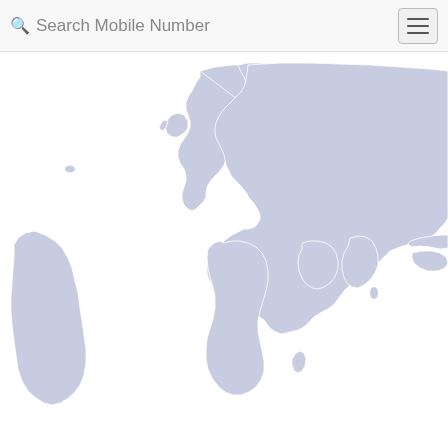Search Mobile Number
[Figure (map): Partial world map showing Europe, Asia, Africa, South America, and island territories, rendered in a muted blue-grey color on white background. The map is cropped showing roughly the eastern hemisphere centered regions plus South America on the left edge.]